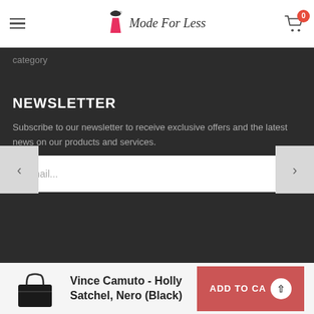Mode For Less
category
NEWSLETTER
Subscribe to our newsletter to receive exclusive offers and the latest news on our products and services.
Email...
SUBMIT
Vince Camuto - Holly Satchel, Nero (Black)
ADD TO CA...